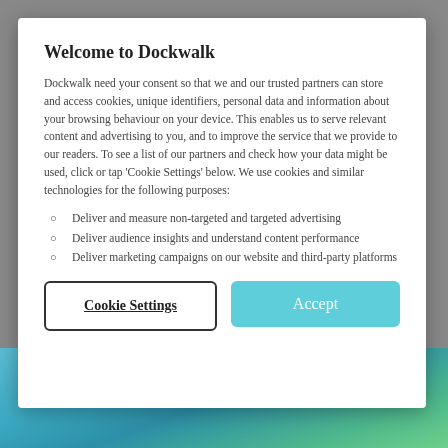Welcome to Dockwalk
Dockwalk need your consent so that we and our trusted partners can store and access cookies, unique identifiers, personal data and information about your browsing behaviour on your device. This enables us to serve relevant content and advertising to you, and to improve the service that we provide to our readers. To see a list of our partners and check how your data might be used, click or tap 'Cookie Settings' below. We use cookies and similar technologies for the following purposes:
Deliver and measure non-targeted and targeted advertising
Deliver audience insights and understand content performance
Deliver marketing campaigns on our website and third-party platforms
Cookie Settings
Accept